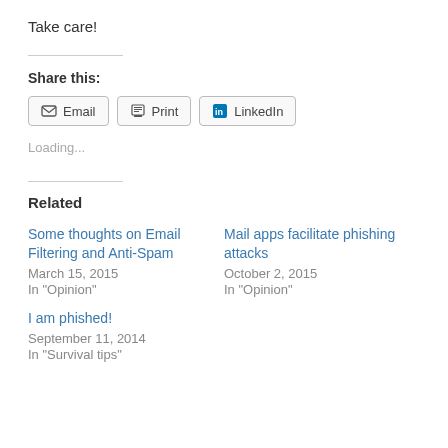Take care!
Share this:
[Figure (other): Share buttons: Email, Print, LinkedIn]
Loading...
Related
Some thoughts on Email Filtering and Anti-Spam
March 15, 2015
In "Opinion"
Mail apps facilitate phishing attacks
October 2, 2015
In "Opinion"
I am phished!
September 11, 2014
In "Survival tips"